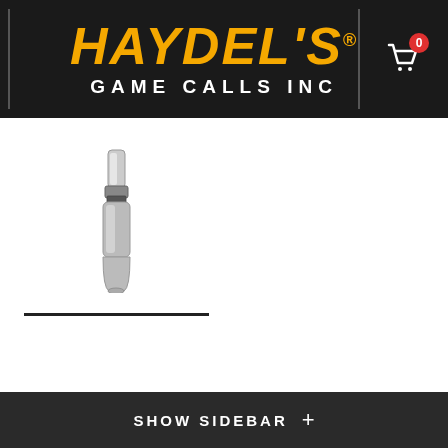HAYDEL'S GAME CALLS INC
[Figure (photo): Small product thumbnail image of a duck call / game call instrument, shown vertically, with a translucent/silver barrel and dark reed insert]
SHOW SIDEBAR +